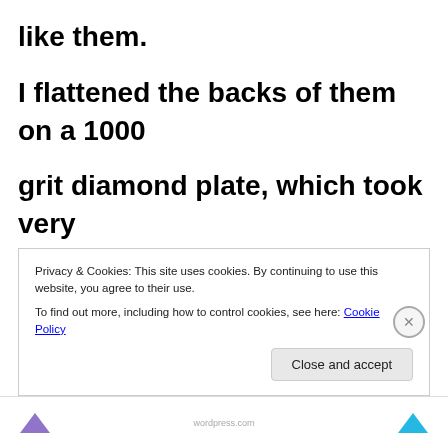like them. I flattened the backs of them on a 1000 grit diamond plate, which took very little effort as they were quite well machined and really flat. The primary
Privacy & Cookies: This site uses cookies. By continuing to use this website, you agree to their use. To find out more, including how to control cookies, see here: Cookie Policy
Close and accept